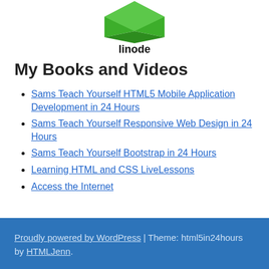[Figure (logo): Linode logo — green diamond shape with 'linode' text beneath it]
My Books and Videos
Sams Teach Yourself HTML5 Mobile Application Development in 24 Hours
Sams Teach Yourself Responsive Web Design in 24 Hours
Sams Teach Yourself Bootstrap in 24 Hours
Learning HTML and CSS LiveLessons
Access the Internet
Proudly powered by WordPress | Theme: html5in24hours by HTMLJenn.